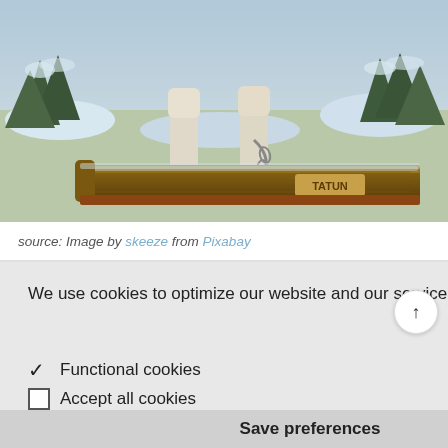[Figure (photo): Close-up photo of a sled dog (white/light-colored dog) standing on a wooden sled with a chain attached, with snow-covered pine trees in the background. A tag reading 'TATUN' is visible on the sled.]
source: Image by skeeze from Pixabay
We use cookies to optimize our website and our service. Read more
✓ Functional cookies
☐ Accept all cookies
Save preferences